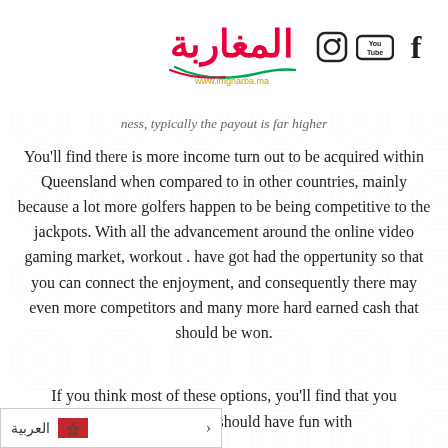www.imgharba.ma — logo and social icons (Instagram, YouTube, Facebook)
ness, typically the payout is far higher
You'll find there is more income turn out to be acquired within Queensland when compared to in other countries, mainly because a lot more golfers happen to be being competitive to the jackpots. With all the advancement around the online video gaming market, workout . have got had the oppertunity so that you can connect the enjoyment, and consequently there may even more competitors and many more hard earned cash that should be won.
If you think most of these options, you'll find that you ... worlds. You will should have fun with